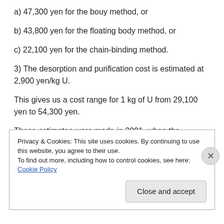a) 47,300 yen for the bouy method, or
b) 43,800 yen for the floating body method, or
c) 22,100 yen for the chain-binding method.
3) The desorption and purification cost is estimated at 2,900 yen/kg U.
This gives us a cost range for 1 kg of U from 29,100 yen to 54,300 yen.
These estimates were made in 2001, when the
Privacy & Cookies: This site uses cookies. By continuing to use this website, you agree to their use.
To find out more, including how to control cookies, see here: Cookie Policy